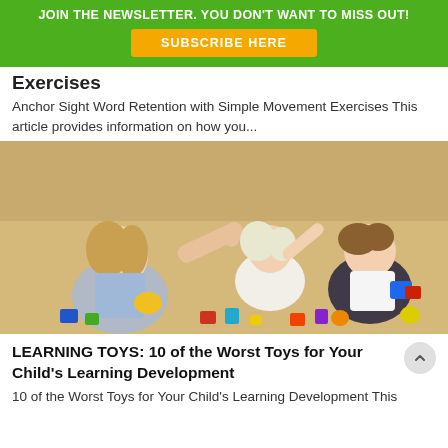JOIN THE NEWSLETTER. YOU DON'T WANT TO MISS OUT! SUBSCRIBE HERE
Exercises
Anchor Sight Word Retention with Simple Movement Exercises This article provides information on how you...
[Figure (photo): Children sitting on the floor playing with colorful building blocks, with an adult hand pointing at them]
LEARNING TOYS: 10 of the Worst Toys for Your Child's Learning Development
10 of the Worst Toys for Your Child's Learning Development This